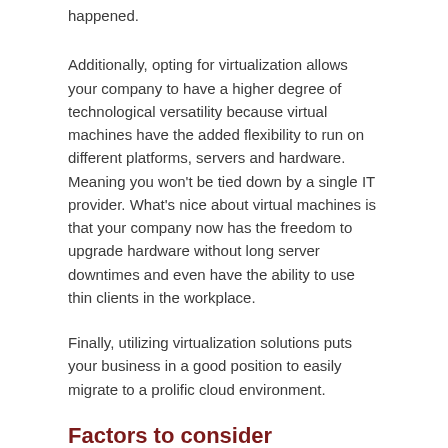happened.
Additionally, opting for virtualization allows your company to have a higher degree of technological versatility because virtual machines have the added flexibility to run on different platforms, servers and hardware. Meaning you won't be tied down by a single IT provider. What's nice about virtual machines is that your company now has the freedom to upgrade hardware without long server downtimes and even have the ability to use thin clients in the workplace.
Finally, utilizing virtualization solutions puts your business in a good position to easily migrate to a prolific cloud environment.
Factors to consider
With seemingly no disadvantages to virtualization